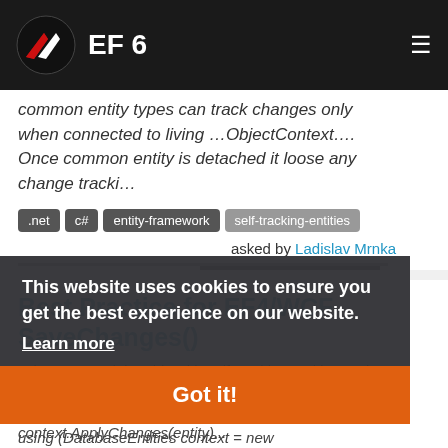EF 6
common entity types can track changes only when connected to living …ObjectContext…. Once common entity is detached it loose any change tracki…
.net  c#  entity-framework  self-tracking-entities
asked by Ladislav Mrnka
Best Practice for EF4/WCF SaveChanges()
Why are you doing this with self-tracking entities? What was wrong with this …[OperationContract] public SaveUser(User entity) { bool isDeleted = false; using (DatabaseEntities context = new
This website uses cookies to ensure you get the best experience on our website.
Learn more
Got it!
entity.ChangeTracker.State = ObjectStateDeleted; context.ApplyChanges(entity)...